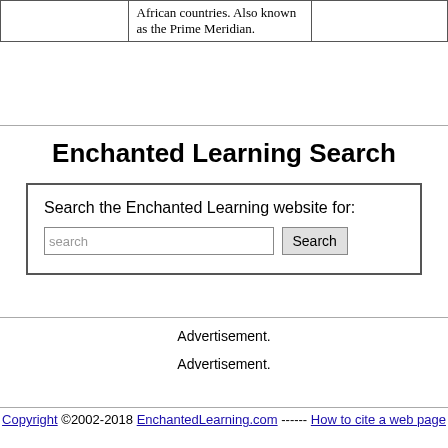|  |  |  |
| --- | --- | --- |
|  | African countries. Also known as the Prime Meridian. |  |
Enchanted Learning Search
Search the Enchanted Learning website for:
Advertisement.
Advertisement.
Copyright ©2002-2018 EnchantedLearning.com ------ How to cite a web page